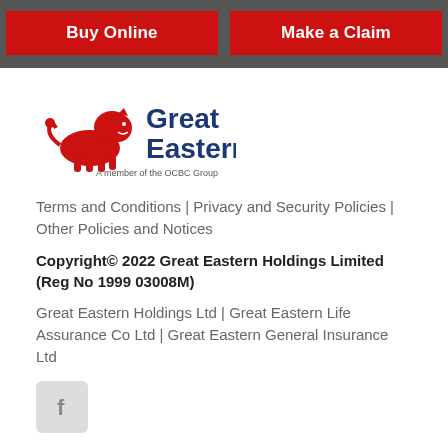Buy Online | Make a Claim
[Figure (logo): Great Eastern logo with red lion and blue text 'Great Eastern', tagline 'A member of the OCBC Group']
Terms and Conditions | Privacy and Security Policies | Other Policies and Notices
Copyright© 2022 Great Eastern Holdings Limited (Reg No 1999 03008M)
Great Eastern Holdings Ltd | Great Eastern Life Assurance Co Ltd | Great Eastern General Insurance Ltd
[Figure (logo): Facebook social media icon button]